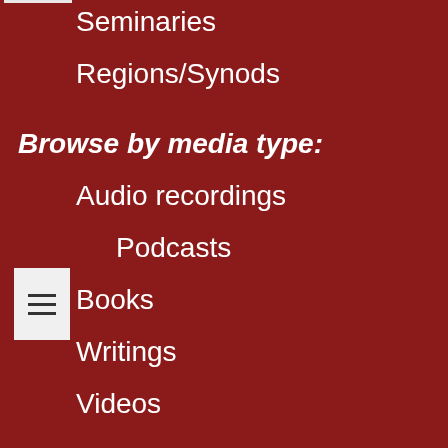Congregations
Pastors
Youth
Colleges/Universities
Seminaries
Regions/Synods
Browse by media type:
Audio recordings
Podcasts
Books
Writings
Videos